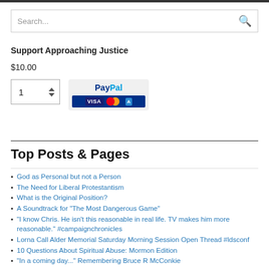Search...
Support Approaching Justice
$10.00
[Figure (other): Quantity input box showing '1' with up/down arrows, and PayPal payment button with Visa, Mastercard, Amex card logos]
Top Posts & Pages
God as Personal but not a Person
The Need for Liberal Protestantism
What is the Original Position?
A Soundtrack for "The Most Dangerous Game"
"I know Chris. He isn't this reasonable in real life. TV makes him more reasonable." #campaignchronicles
Lorna Call Alder Memorial Saturday Morning Session Open Thread #ldsconf
10 Questions About Spiritual Abuse: Mormon Edition
"In a coming day..." Remembering Bruce R McConkie